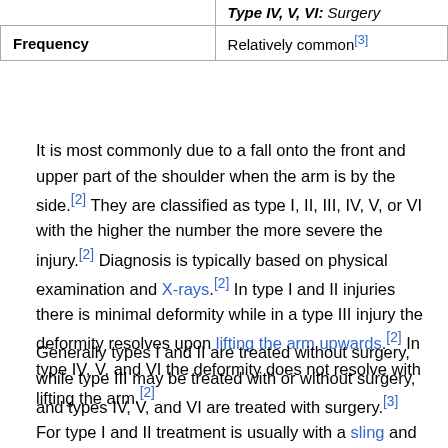|  |  |
| --- | --- |
| Type IV, V, VI: Surgery |
| Frequency | Relatively common[3] |
It is most commonly due to a fall onto the front and upper part of the shoulder when the arm is by the side.[2] They are classified as type I, II, III, IV, V, or VI with the higher the number the more severe the injury.[2] Diagnosis is typically based on physical examination and X-rays.[2] In type I and II injuries there is minimal deformity while in a type III injury the deformity resolves upon lifting the arm upwards.[2] In type IV, V, and VI the deformity does not resolve with lifting the arm.[2]
Generally types I and II are treated without surgery, while type III may be treated with or without surgery, and types IV, V, and VI are treated with surgery.[3] For type I and II treatment is usually with a sling and pain medications for a